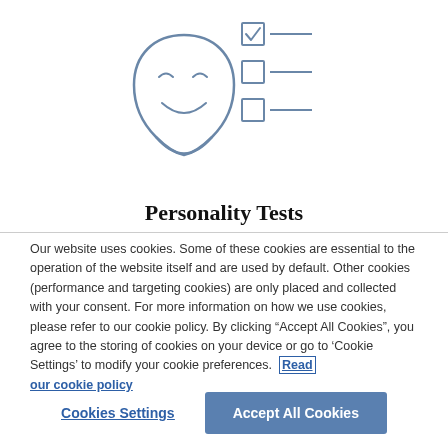[Figure (illustration): A theatre/comedy mask icon next to a checklist with three items: first checkbox is checked, second and third are unchecked, each followed by a horizontal line]
Personality Tests
Our website uses cookies. Some of these cookies are essential to the operation of the website itself and are used by default. Other cookies (performance and targeting cookies) are only placed and collected with your consent. For more information on how we use cookies, please refer to our cookie policy. By clicking “Accept All Cookies”, you agree to the storing of cookies on your device or go to ‘Cookie Settings’ to modify your cookie preferences.  Read our cookie policy
Cookies Settings
Accept All Cookies